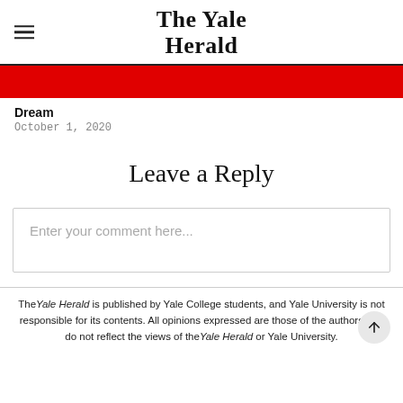The Yale Herald
[Figure (other): Red decorative bar]
Dream
October 1, 2020
Leave a Reply
Enter your comment here...
The Yale Herald is published by Yale College students, and Yale University is not responsible for its contents. All opinions expressed are those of the authors and do not reflect the views of the Yale Herald or Yale University.